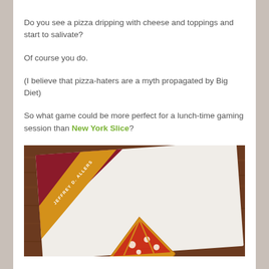Do you see a pizza dripping with cheese and toppings and start to salivate?
Of course you do.
(I believe that pizza-haters are a myth propagated by Big Diet)
So what game could be more perfect for a lunch-time gaming session than New York Slice?
[Figure (photo): Photo of a board game box for 'New York Slice' by Jeffrey D. Allers, showing a pizza slice graphic on a white box lid with dark red and gold/orange corner design, placed on a wooden table surface.]